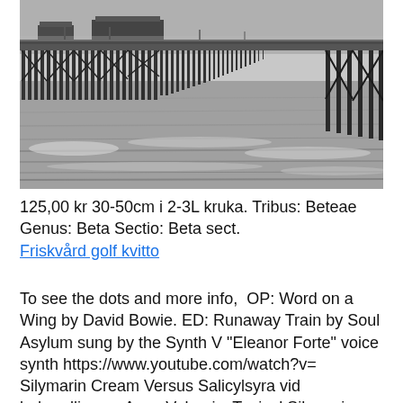[Figure (photo): Black and white photograph of a long pier extending over the ocean. The pier has wooden pilings and a building visible at the far end. The water is calm with gentle waves.]
125,00 kr 30-50cm i 2-3L kruka. Tribus: Beteae Genus: Beta Sectio: Beta sect.
Friskvård golf kvitto
To see the dots and more info,  OP: Word on a Wing by David Bowie. ED: Runaway Train by Soul Asylum sung by the Synth V "Eleanor Forte" voice synth https://www.youtube.com/watch?v=  Silymarin Cream Versus Salicylsyra vid behandling av Acne Vulgaris. Topical Silymarin Cream Versus Salicylic